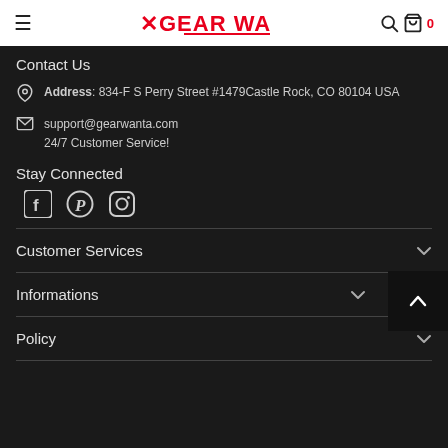GEAR WANTA — navigation header with hamburger, logo, search, cart (0)
Contact Us
Address: 834-F S Perry Street #1479Castle Rock, CO 80104 USA
support@gearwanta.com
24/7 Customer Service!
Stay Connected
[Figure (infographic): Facebook, Pinterest, and Instagram social media icons]
Customer Services
Informations
Policy